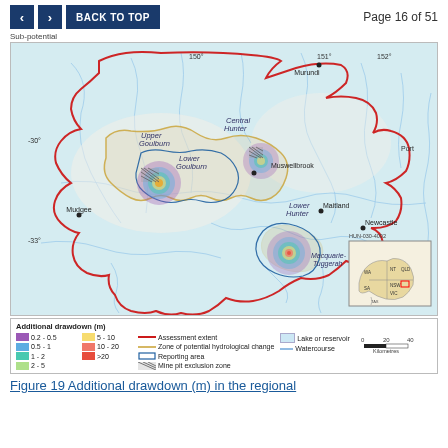< > BACK TO TOP   Page 16 of 51
Sub-potential
[Figure (map): Regional map showing additional drawdown (m) in the Hunter region of NSW, Australia. Features red boundary lines for assessment extent, gold lines for zone of potential hydrological change, blue boundary for reporting area, hatched areas for mine pit exclusion zones, and heat-map style colouring for additional drawdown amounts. Shows locations including Upper Goulburn, Lower Goulburn, Central Hunter, Lower Hunter, Macquarie-Tuggerah, Muswellbrook, Maitland, Newcastle, Mudgee, Murundi, Port. Inset map shows location within Australia. Scale bar: 0 20 40 Kilometres. HUN-030-4002.]
Additional drawdown (m) legend: 0.2-0.5 (purple), 0.5-1 (light blue), 1-2 (cyan), 2-5 (light green), 5-10 (yellow), 10-20 (orange), >20 (pink/red). Assessment extent (red line), Zone of potential hydrological change (gold line), Reporting area (blue line), Mine pit exclusion zone (hatched). Lake or reservoir (light blue fill), Watercourse (blue line). Scale: 0 20 40 Kilometres.
Figure 19 Additional drawdown (m) in the regional